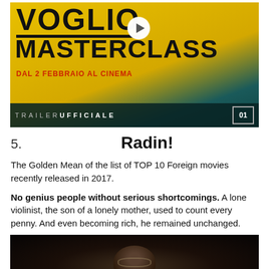[Figure (photo): Movie trailer thumbnail for 'Voglio La Mia Masterclass' showing yellow background, movie title text, play button, group of people, and trailer bar at bottom with '01 Distribution' logo]
5. Radin!
The Golden Mean of the list of TOP 10 Foreign movies recently released in 2017.
No genius people without serious shortcomings. A lone violinist, the son of a lonely mother, used to count every penny. And even becoming rich, he remained unchanged.
[Figure (photo): Dark cinematic still from Radin! movie showing a man with glasses in low-key lighting]